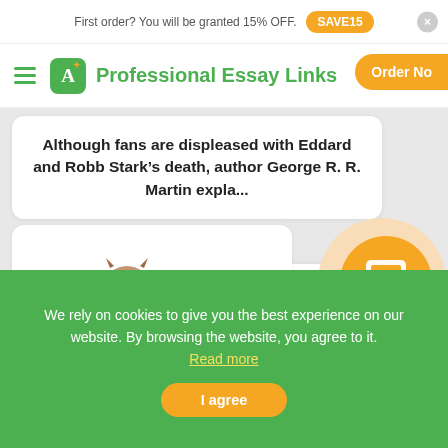First order? You will be granted 15% OFF. SAVE15
Professional Essay Links  Order No
Although fans are displeased with Eddard and Robb Stark’s death, author George R. R. Martin expla...
Order a paper. Study better. Sleep tight. Calculate Price!
[Figure (illustration): Owl mascot illustration with glasses]
[Figure (illustration): Calculator icon in orange circle]
We rely on cookies to give you the best experience on our website. By browsing the website, you agree to it. Read more
I agree